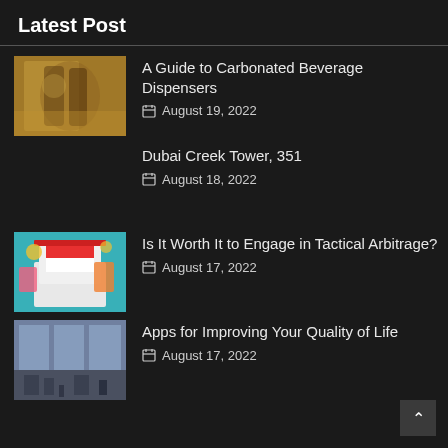Latest Post
A Guide to Carbonated Beverage Dispensers
August 19, 2022
Dubai Creek Tower, 351
August 18, 2022
Is It Worth It to Engage in Tactical Arbitrage?
August 17, 2022
Apps for Improving Your Quality of Life
August 17, 2022